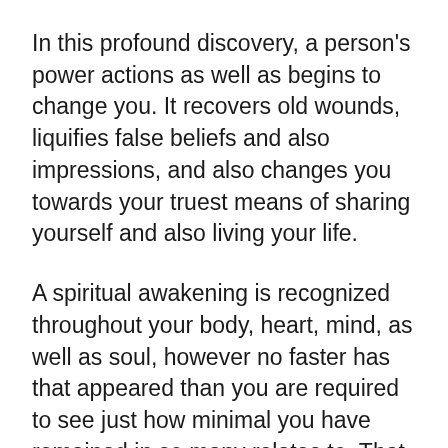In this profound discovery, a person's power actions as well as begins to change you. It recovers old wounds, liquifies false beliefs and also impressions, and also changes you towards your truest means of sharing yourself and also living your life.
A spiritual awakening is recognized throughout your body, heart, mind, as well as soul, however no faster has that appeared than you are required to see just how minimal you have remained in so many relates to. That brilliant light shining in the inner most midsts people asks us a powerful inquiry: “Now that we know the reality, will we tidy up our residence or will we attempt to neglect our illusions, discomfort, as well